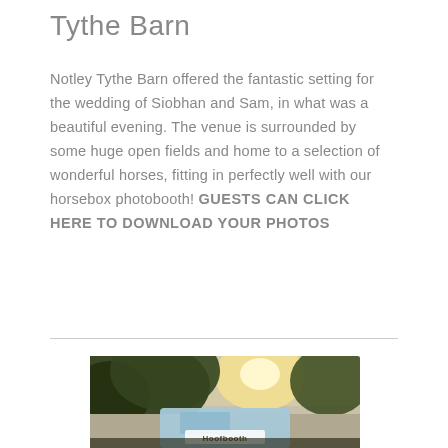Tythe Barn
Notley Tythe Barn offered the fantastic setting for the wedding of Siobhan and Sam, in what was a beautiful evening. The venue is surrounded by some huge open fields and home to a selection of wonderful horses, fitting in perfectly well with our horsebox photobooth! GUESTS CAN CLICK HERE TO DOWNLOAD YOUR PHOTOS
[Figure (photo): Outdoor photograph showing trees with sunlight shining through, and a light blue horsebox photobooth in the lower portion with 'Hoofbooth' branding visible.]